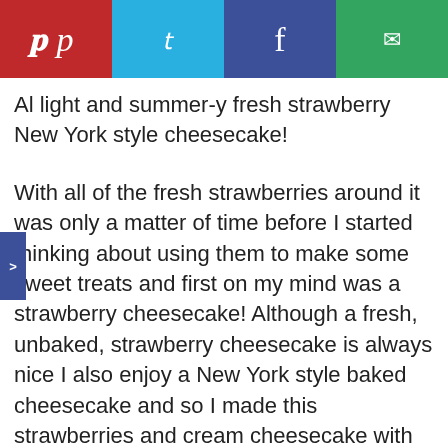[Figure (other): Social sharing bar with four buttons: Pinterest (red), Twitter (light blue), Facebook (dark blue/purple), Email (green), each with their respective icons in white.]
Al light and summer-y fresh strawberry New York style cheesecake!
With all of the fresh strawberries around it was only a matter of time before I started thinking about using them to make some sweet treats and first on my mind was a strawberry cheesecake! Although a fresh, unbaked, strawberry cheesecake is always nice I also enjoy a New York style baked cheesecake and so I made this strawberries and cream cheesecake with pretzel crust. This cheesecake is a pretty basic cheesecake with cream cheese, eggs, sugar, cream and pureed strawberries with the only real difference being that the moisture added by the fresh strawberries increases the baking time a little. Instead of using the standard graham cracker crumb crust I